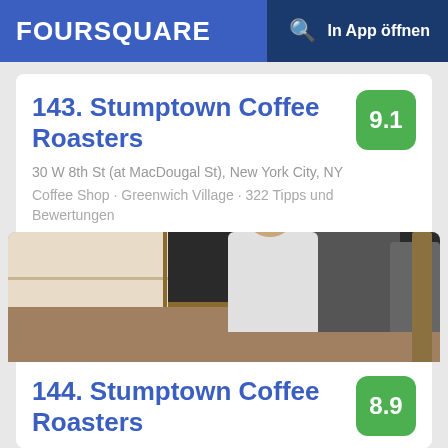FOURSQUARE  In App öffnen
143. Stumptown Coffee Roasters
9.1
30 W 8th St (at MacDougal St), New York City, NY
Coffee Shop · Greenwich Village · 322 Tipps und Bewertungen
[Figure (photo): Interior photo of a coffee shop showing a barista working behind the counter with coffee equipment, shelves, and a chalkboard menu in the background.]
144. Stumptown Coffee Roasters
8.9